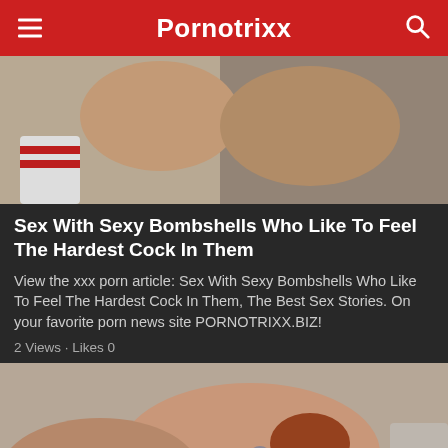Pornotrixx
[Figure (photo): Two people kissing intimately, one wearing white socks with red stripes]
Sex With Sexy Bombshells Who Like To Feel The Hardest Cock In Them
View the xxx porn article: Sex With Sexy Bombshells Who Like To Feel The Hardest Cock In Them, The Best Sex Stories. On your favorite porn news site PORNOTRIXX.BIZ!
2 Views · Likes 0
[Figure (photo): Intimate adult content scene with tattooed woman on couch]